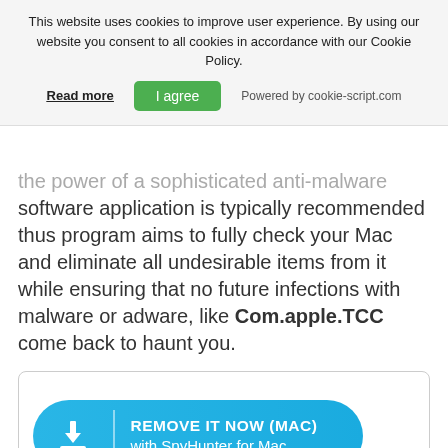This website uses cookies to improve user experience. By using our website you consent to all cookies in accordance with our Cookie Policy.
Read more | I agree | Powered by cookie-script.com
the power of a sophisticated anti-malware software application is typically recommended thus program aims to fully check your Mac and eliminate all undesirable items from it while ensuring that no future infections with malware or adware, like Com.apple.TCC come back to haunt you.
[Figure (other): Blue rounded button with download icon and text: REMOVE IT NOW (MAC) with SpyHunter for Mac]
Com.apple.TCC may remain persistent on your system and may re-infect it. We recommend you to download SpyHunter for Mac and run free scan